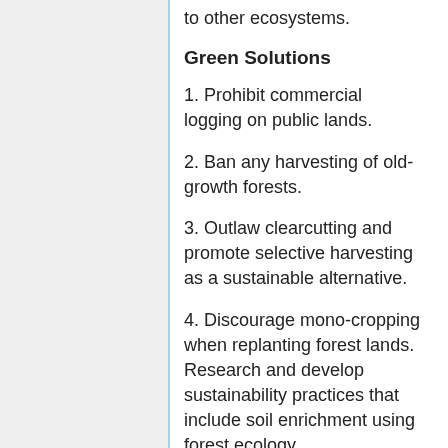to other ecosystems.
Green Solutions
1. Prohibit commercial logging on public lands.
2. Ban any harvesting of old-growth forests.
3. Outlaw clearcutting and promote selective harvesting as a sustainable alternative.
4. Discourage mono-cropping when replanting forest lands. Research and develop sustainability practices that include soil enrichment using forest ecology.
5. Overhaul local, state and U.S. Forest Service rules to ensure that our forests are protected and remain for the enjoyment and sustainable use by future